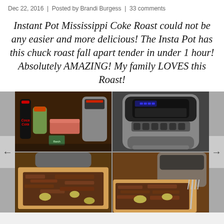Dec 22, 2016  |  Posted by Brandi Burgess  |  33 comments
Instant Pot Mississippi Coke Roast could not be any easier and more delicious! The Insta Pot has this chuck roast fall apart tender in under 1 hour! Absolutely AMAZING! My family LOVES this Roast!
[Figure (photo): 2x2 photo collage showing an Instant Pot pressure cooker with ingredients (Coca-Cola bottle, pickled peppers jar, chuck roast, seasoning packets) in the top-left; Instant Pot alone in the top-right; pull-apart Mississippi pot roast on a cutting board in the bottom-left and bottom-right photos.]